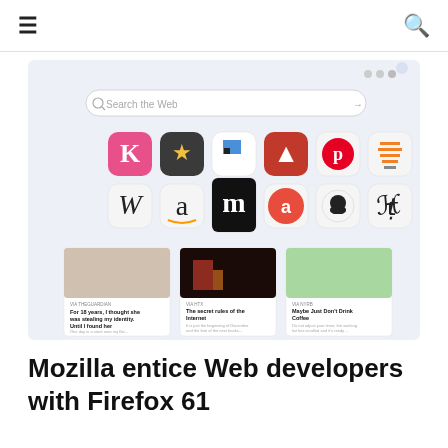≡  🔍
[Figure (screenshot): Firefox browser new tab page showing a search bar 'Search the Web', a grid of website shortcut icons (Klarna, Reeder, NewsReader, Lighthouse, Pinterest, Stack Overflow, Wikipedia, Amazon, Medium, About.me, GitHub, New York Times), and three article cards from The Guardian, HTX, and NYRB.]
Mozilla entice Web developers with Firefox 61 code inspection